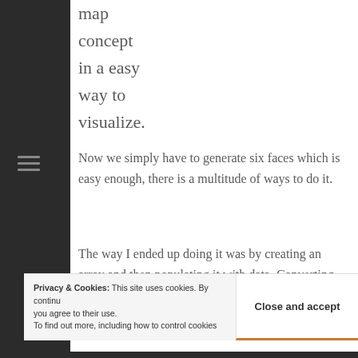map concept in a easy way to visualize.
Now we simply have to generate six faces which is easy enough, there is a multitude of ways to do it.
The way I ended up doing it was by creating an array and then populating it with data. Converting the 2D coordinates of a canvas to the 3D coordinates of a
Privacy & Cookies: This site uses cookies. By continuing to use this website, you agree to their use.
To find out more, including how to control cookies, Close and accept